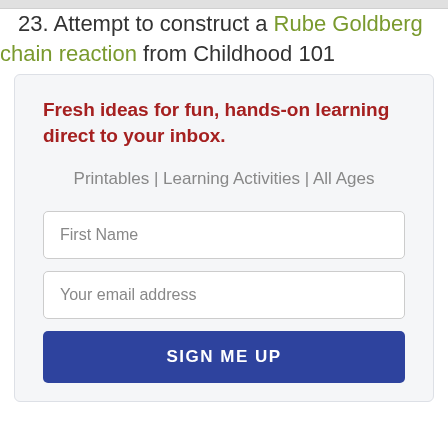23. Attempt to construct a Rube Goldberg chain reaction from Childhood 101
Fresh ideas for fun, hands-on learning direct to your inbox.
Printables | Learning Activities | All Ages
First Name
Your email address
SIGN ME UP